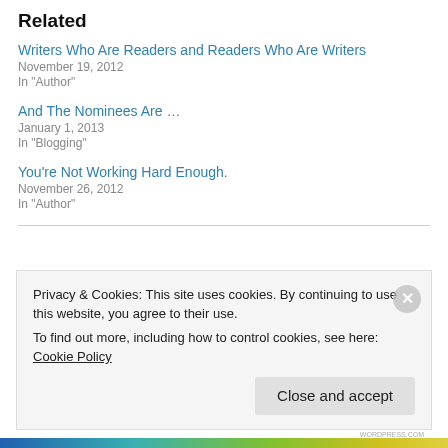Related
Writers Who Are Readers and Readers Who Are Writers
November 19, 2012
In "Author"
And The Nominees Are …
January 1, 2013
In "Blogging"
You're Not Working Hard Enough.
November 26, 2012
In "Author"
Privacy & Cookies: This site uses cookies. By continuing to use this website, you agree to their use.
To find out more, including how to control cookies, see here: Cookie Policy
Close and accept